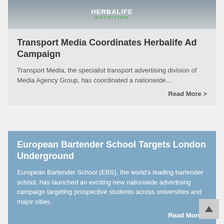[Figure (photo): Photo of a person wearing a Herbalife Nutrition branded t-shirt, cropped to show torso only]
Transport Media Coordinates Herbalife Ad Campaign
Transport Media, the specialist transport advertising division of Media Agency Group, has coordinated a nationwide…
Read More >
European Bartender School Targets London Underground
European Bartender School (EBS), the world's leading bartender school, has launched an exciting new nationwide advertising campaign targeting prospective students across universities and major cities.
Read More >